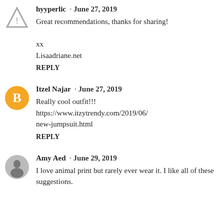hyyperlic · June 27, 2019
Great recommendations, thanks for sharing!

xx
Lisaadriane.net
REPLY
Itzel Najar · June 27, 2019
Really cool outfit!!!
https://www.itzytrendy.com/2019/06/new-jumpsuit.html
REPLY
Amy Aed · June 29, 2019
I love animal print but rarely ever wear it. I like all of these suggestions.